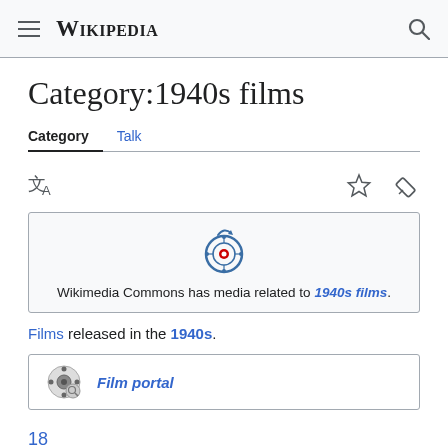Wikipedia
Category:1940s films
Category  Talk
[Figure (logo): Wikimedia Commons logo — film reel icon with red dot]
Wikimedia Commons has media related to 1940s films.
Films released in the 1940s.
[Figure (logo): Film portal icon — small film reel with Film portal label]
18
19
19